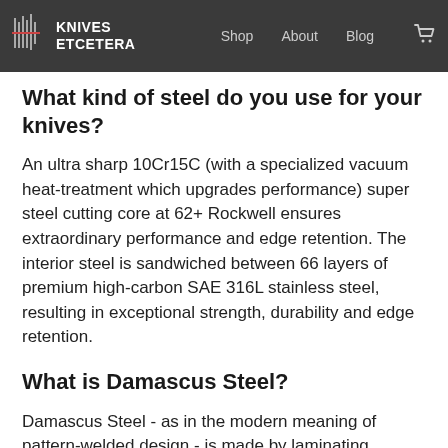KNIVES ETCETERA | Shop | About | Blog
What kind of steel do you use for your knives?
An ultra sharp 10Cr15C (with a specialized vacuum heat-treatment which upgrades performance) super steel cutting core at 62+ Rockwell ensures extraordinary performance and edge retention. The interior steel is sandwiched between 66 layers of premium high-carbon SAE 316L stainless steel, resulting in exceptional strength, durability and edge retention.
What is Damascus Steel?
Damascus Steel - as in the modern meaning of pattern-welded design - is made by laminating different alloys of metal and then folding the billet